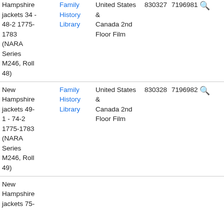| Title | Library | Location | Col1 | Col2 |  |  |
| --- | --- | --- | --- | --- | --- | --- |
| Hampshire jackets 34 - 48-2 1775-1783 (NARA Series M246, Roll 48) | Family History Library | United States & Canada 2nd Floor Film | 830327 | 7196981 | 🔍 |  |
| New Hampshire jackets 49-1 - 74-2 1775-1783 (NARA Series M246, Roll 49) | Family History Library | United States & Canada 2nd Floor Film | 830328 | 7196982 | 🔍 |  |
| New Hampshire jackets 75- |  |  |  |  |  |  |